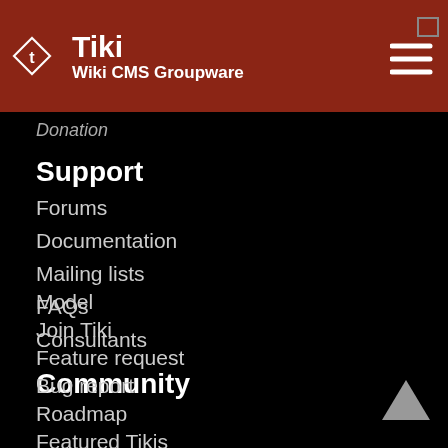Tiki Wiki CMS Groupware
Donation
Support
Forums
Documentation
Mailing lists
FAQs
Consultants
Community
Model
Join Tiki
Feature request
Bug report
Roadmap
Featured Tikis
Events
Videos